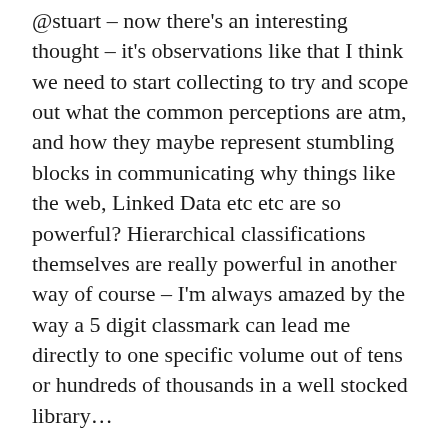@stuart – now there's an interesting thought – it's observations like that I think we need to start collecting to try and scope out what the common perceptions are atm, and how they maybe represent stumbling blocks in communicating why things like the web, Linked Data etc etc are so powerful? Hierarchical classifications themselves are really powerful in another way of course – I'm always amazed by the way a 5 digit classmark can lead me directly to one specific volume out of tens or hundreds of thousands in a well stocked library…
@wilbert Agreed – I think trees are a really natural approach that underlies a lot of folk understanding, intuitive classifications…